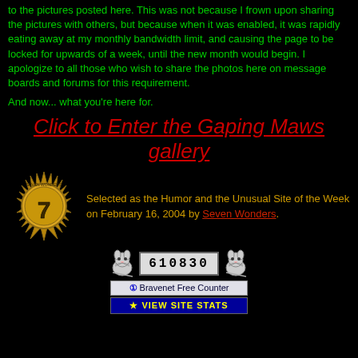to the pictures posted here. This was not because I frown upon sharing the pictures with others, but because when it was enabled, it was rapidly eating away at my monthly bandwidth limit, and causing the page to be locked for upwards of a week, until the new month would begin. I apologize to all those who wish to share the photos here on message boards and forums for this requirement.
And now... what you're here for.
Click to Enter the Gaping Maws gallery
[Figure (illustration): Gold badge with '7' and sun-like spikes labeled 'Seven Wonders' award]
Selected as the Humor and the Unusual Site of the Week on February 16, 2004 by Seven Wonders.
[Figure (illustration): Bravenet free counter showing 610830 visits, with two mice flanking the counter, plus VIEW SITE STATS button]